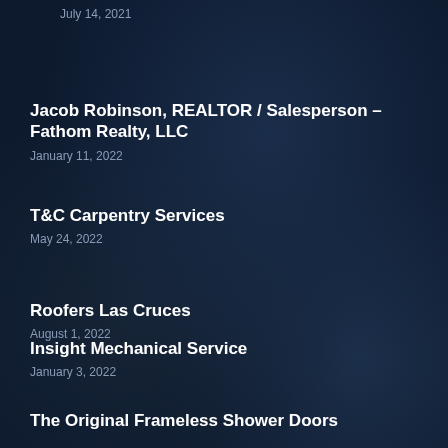July 14, 2021
Jacob Robinson, REALTOR / Salesperson – Fathom Realty, LLC
January 11, 2022
T&C Carpentry Services
May 24, 2022
Roofers Las Cruces
August 1, 2022
Insight Mechanical Service
January 3, 2022
The Original Frameless Shower Doors